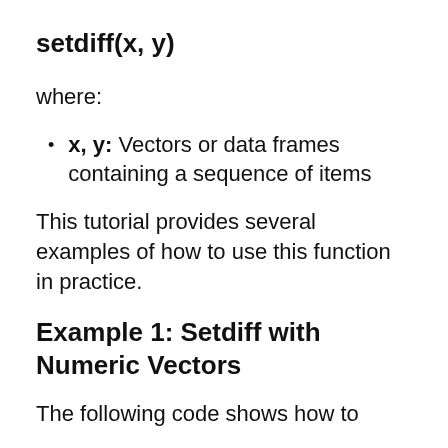setdiff(x, y)
where:
x, y: Vectors or data frames containing a sequence of items
This tutorial provides several examples of how to use this function in practice.
Example 1: Setdiff with Numeric Vectors
The following code shows how to